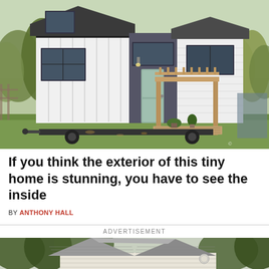[Figure (photo): Exterior of a modern tiny home on wheels with white board-and-batten siding, black-framed windows, a wooden pergola porch, and small deck, parked on green grass with trees in background.]
If you think the exterior of this tiny home is stunning, you have to see the inside
BY ANTHONY HALL
ADVERTISEMENT
[Figure (photo): Exterior of a white house with a gray shingled gabled roof and mature trees in the background — an advertisement image.]